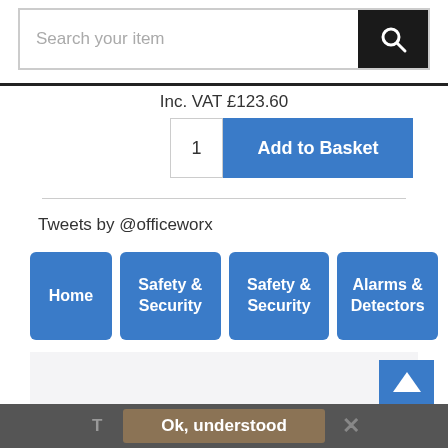Search your item
Inc. VAT £123.60
1
Add to Basket
Tweets by @officeworx
Home
Safety & Security
Safety & Security
Alarms & Detectors
T
Ok, understood
✕